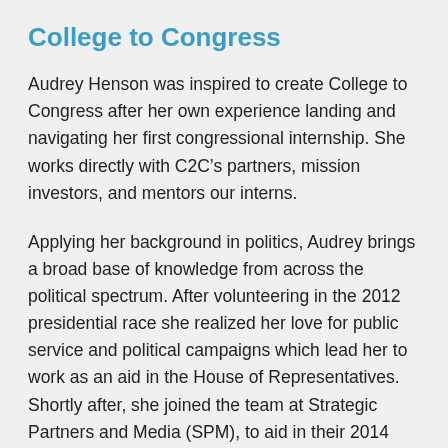College to Congress
Audrey Henson was inspired to create College to Congress after her own experience landing and navigating her first congressional internship. She works directly with C2C’s partners, mission investors, and mentors our interns.
Applying her background in politics, Audrey brings a broad base of knowledge from across the political spectrum. After volunteering in the 2012 presidential race she realized her love for public service and political campaigns which lead her to work as an aid in the House of Representatives. Shortly after, she joined the team at Strategic Partners and Media (SPM), to aid in their 2014 mid-term success. SPM’s final tally included wins in five competitive Governor’s races, one Senate seat, two historic House seats, an Attorney General race, and multiple Independent Expenditures. During the 2016